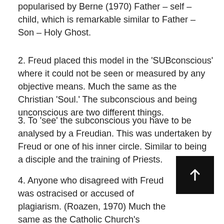popularised by Berne (1970) Father – self – child, which is remarkable similar to Father – Son – Holy Ghost.
2. Freud placed this model in the 'SUBconscious' where it could not be seen or measured by any objective means. Much the same as the Christian 'Soul.' The subconscious and being unconscious are two different things.
3. To 'see' the subconscious you have to be analysed by a Freudian. This was undertaken by Freud or one of his inner circle. Similar to being a disciple and the training of Priests.
4. Anyone who disagreed with Freud was ostracised or accused of plagiarism. (Roazen, 1970) Much the same as the Catholic Church's accusations of heresy.
5. Freud stated to be a balanced person you have to undergo psychoanalysis throughout your life. Rather like praying to God